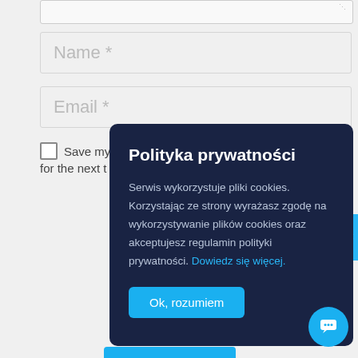[Figure (screenshot): Form input fields showing Name * and Email * placeholder text on grey background]
Name *
Email *
Save my name... for the next time...
[Figure (screenshot): Cookie consent popup overlay with dark navy background]
Polityka prywatności
Serwis wykorzystuje pliki cookies. Korzystając ze strony wyrażasz zgodę na wykorzystywanie plików cookies oraz akceptujesz regulamin polityki prywatności. Dowiedz się więcej.
Ok, rozumiem